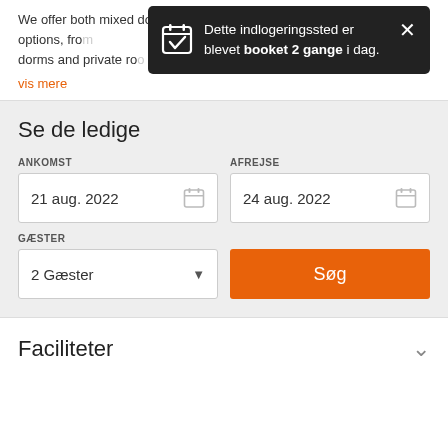We offer both mixed dormitory rooms and private rooms, with different options, from dorms and private ro...
vis mere
[Figure (screenshot): Dark popup notification: 'Dette indlogeringssted er blevet booket 2 gange i dag.' with calendar-check icon and close button]
Se de ledige
ANKOMST
21 aug. 2022
AFREJSE
24 aug. 2022
GÆSTER
2 Gæster
Søg
Faciliteter